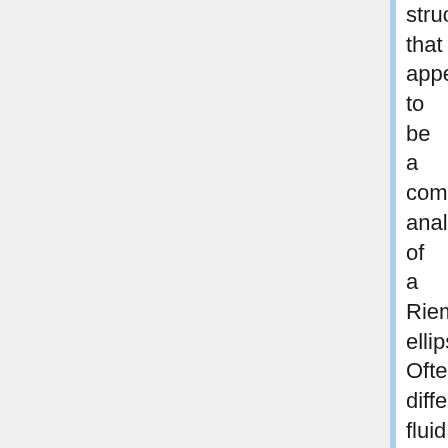structure that appears to be a compressible analog of a Riemann ellipsoid. Often, differential fluid flows inside the bar were supersonic and exhibited mild standing shocks near the ends of the bar, so the structure of each bar was necessarily expected to change on a secular time scale.